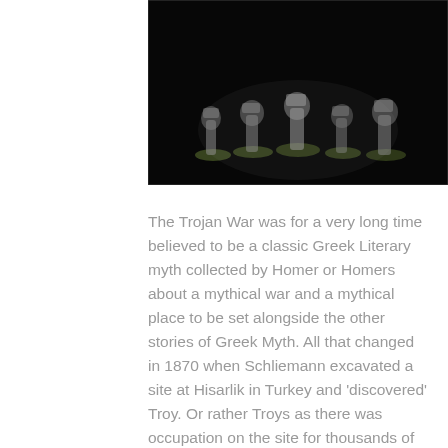[Figure (photo): A dark/black background photograph showing several small figurines or statuettes of warriors or soldiers, appearing to be Greek or Trojan themed, arranged in a row. The figures appear to be made of white/grey material and are posed in combat stances.]
The Trojan War was for a very long time believed to be a classic Greek Literary myth collected by Homer or Homers about a mythical war and a mythical place to be set alongside the other stories of Greek Myth. All that changed in 1870 when Schliemann excavated a site at Hisarlik in Turkey and 'discovered' Troy. Or rather Troys as there was occupation on the site for thousands of years from around 3000 BC to the end of